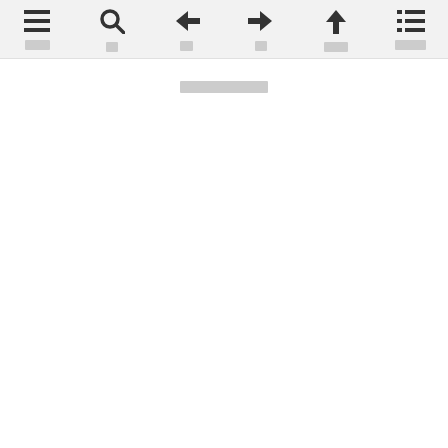Navigation bar with menu, search, back, forward, up, and table of contents icons
░░░░░░░░░░